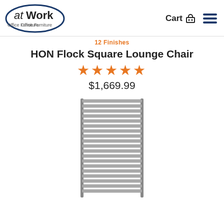[Figure (logo): atWork Office Furniture logo — oval shape with dark blue border, 'atWork' in large text (at in italic, Work in bold), 'Office Furniture' below in smaller text, orange accent]
Cart 🛒
12 Finishes
HON Flock Square Lounge Chair
★★★★★
$1,669.99
[Figure (photo): Product photo of the HON Flock Square Lounge Chair — a stacked/layered lounge chair with metallic silver/grey woven or slatted backrest and seat panels, metal frame, viewed from a slight angle]